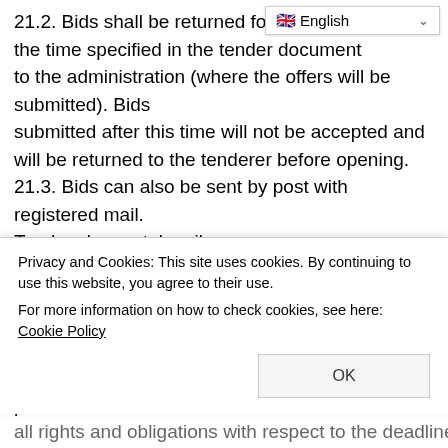[Figure (screenshot): Language selector dropdown showing English with flag icon and dropdown arrow]
21.2. Bids shall be returned for the r... the time specified in the tender document to the administration (where the offers will be submitted). Bids submitted after this time will not be accepted and will be returned to the tenderer before opening. 21.3. Bids can also be sent by post with registered mail. Tenders by postal mail The contractor must reach the administration until the tender hours specified in the document. Due to delay in mail the time of receipt of the offers that will not be processed shall be determined by a minute and shall be not taken. 21.4. The bids shall not be subject to any other than the
Privacy and Cookies: This site uses cookies. By continuing to use this website, you agree to their use.
For more information on how to check cookies, see here: Cookie Policy
all rights and obligations with respect to the deadline for the